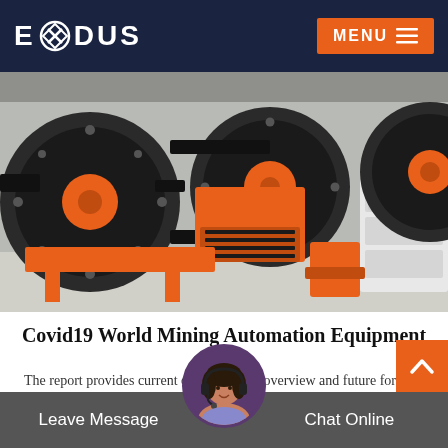EXODUS   MENU
[Figure (photo): Industrial mining equipment — orange jaw crushers with large black flywheels, conveyor components, and a white electrical cabinet in a factory setting.]
Covid19 World Mining Automation Equipment
The report provides current data historical overview and future forecast the report includes an indepth analysis of the..
READ MORE
Leave Message   Chat Online